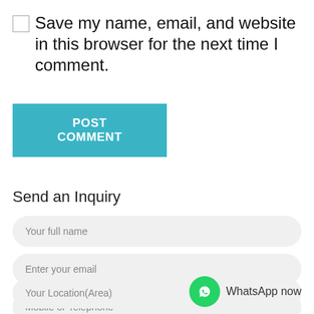Save my name, email, and website in this browser for the next time I comment.
POST COMMENT
Send an Inquiry
Your full name
Enter your email
Mobile or Telephone
Your Location(Area)
WhatsApp now